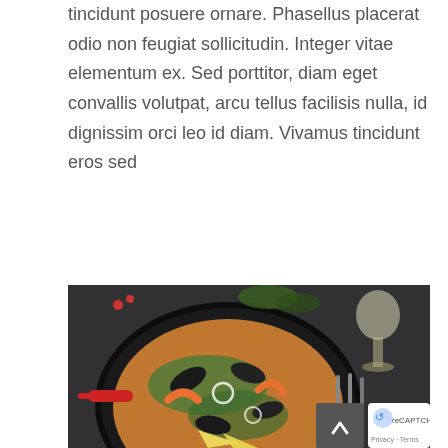tincidunt posuere ornare. Phasellus placerat odio non feugiat sollicitudin. Integer vitae elementum ex. Sed porttitor, diam eget convallis volutpat, arcu tellus facilisis nulla, id dignissim orci leo id diam. Vivamus tincidunt eros sed
LEARN MORE
[Figure (photo): Overhead shot of a paella dish (black pan with red handle) containing seafood, mussels, shrimp, asparagus, lemon wedges on a dark background. A wine glass is visible in the top right. Cutlery (knife and fork) on the right side. Red berries scattered around. A scroll-to-top button and reCAPTCHA badge overlay the bottom right corner.]